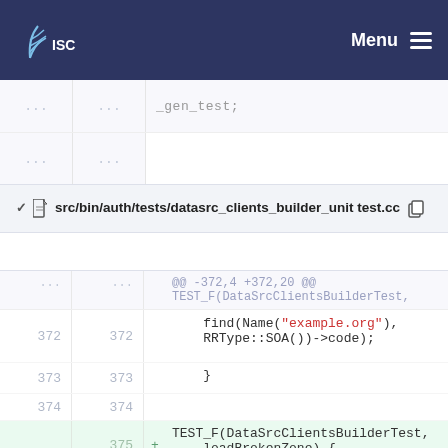ISC — Menu
[Figure (screenshot): Partial code diff showing collapsed rows with ellipsis and a partial line of code ending in '_gen_test;']
✓ 📄 src/bin/auth/tests/datasrc_clients_builder_unit test.cc 📋
@@ -372,4 +372,20 @@
TEST_F(DataSrcClientsBuilderTest,
372  372    find(Name("example.org"),
          RRType::SOA())->code);
373  373    }
374  374    
     375  + TEST_F(DataSrcClientsBuilderTest,
          loadBrokenZone) {
     376  +     configureZones();
     377  +
     378  +     ASSERT_EQ(0,
          std::system(INSTALL_PROG " -c "
          TEST_DATA_DIR
     379  +